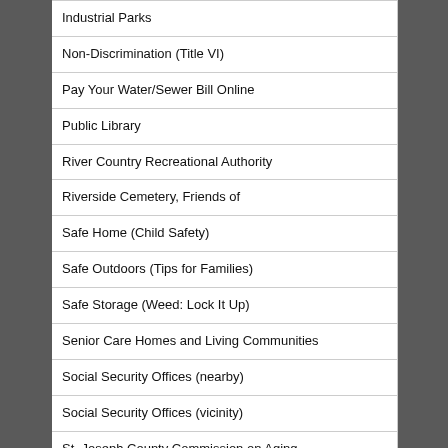Industrial Parks
Non-Discrimination (Title VI)
Pay Your Water/Sewer Bill Online
Public Library
River Country Recreational Authority
Riverside Cemetery, Friends of
Safe Home (Child Safety)
Safe Outdoors (Tips for Families)
Safe Storage (Weed: Lock It Up)
Senior Care Homes and Living Communities
Social Security Offices (nearby)
Social Security Offices (vicinity)
St. Joseph County Commission on Aging
St. Joseph County Economic Development Corporation